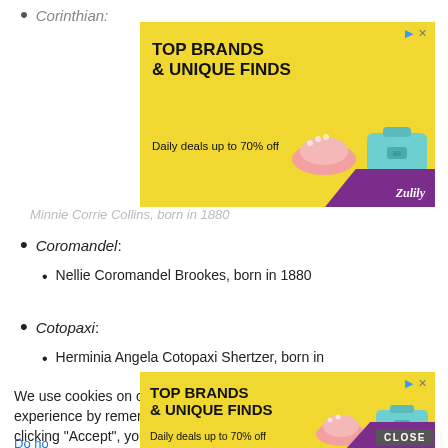Corinthian:
[Figure (other): Zulily advertisement banner: TOP BRANDS & UNIQUE FINDS, Daily deals up to 70% off, with images of shoes and purse on yellow background]
Minnie Corrie Collins, born in 1880
Coromandel:
Nellie Coromandel Brookes, born in 1880
Cotopaxi:
Herminia Angela Cotopaxi Shertzer, born in
We use cookies on our website to give you the most relevant experience by remembering your preferences and repeat visits. By clicking “Accept”, you consent to the use of ALL the cookies.
Do no
[Figure (other): Zulily advertisement banner: TOP BRANDS & UNIQUE FINDS, Daily deals up to 70% off, with images of shoes and purse on yellow background]